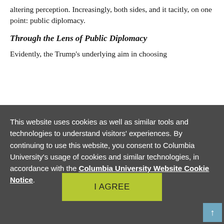altering perception. Increasingly, both sides, and it tacitly, on one point: public diplomacy.
Through the Lens of Public Diplomacy
Evidently, the Trump's underlying aim in choosing
This website uses cookies as well as similar tools and technologies to understand visitors' experiences. By continuing to use this website, you consent to Columbia University's usage of cookies and similar technologies, in accordance with the Columbia University Website Cookie Notice.
I AGREE